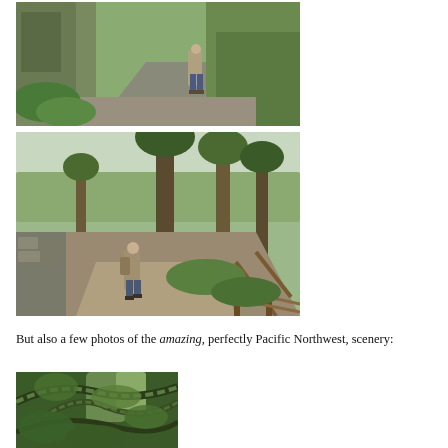[Figure (photo): Person standing on a narrow forest path with lush green ferns and mossy rock walls on either side. Pacific Northwest hiking trail.]
[Figure (photo): Person walking on a wide gravel trail through a forest of tall conifers with views of water or misty hills in the background. A wooden split-rail fence runs along the right side of the path. Pacific Northwest scenery.]
But also a few photos of the amazing, perfectly Pacific Northwest, scenery:
[Figure (photo): Close-up of gnarled, moss-covered tree branches in a lush green Pacific Northwest forest.]